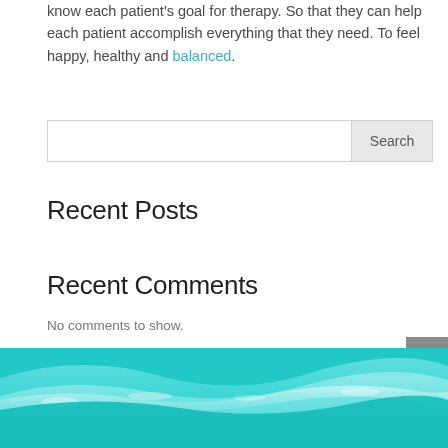know each patient's goal for therapy. So that they can help each patient accomplish everything that they need. To feel happy, healthy and balanced.
[Figure (screenshot): Search bar with text input field and Search button]
Recent Posts
Recent Comments
No comments to show.
[Figure (illustration): Teal/turquoise ocean wave decorative footer image]